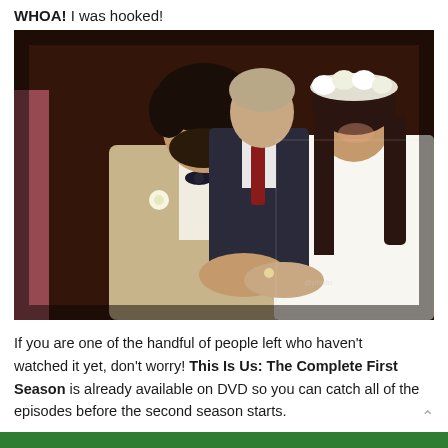WHOA! I was hooked!
[Figure (photo): Wedding scene with groom in tan suit and bow tie placing a ring on bride's finger; bride wearing white lace dress and floral crown, smiling; officiant in dark suit with red tie stands behind them]
If you are one of the handful of people left who haven't watched it yet, don't worry! This Is Us: The Complete First Season is already available on DVD so you can catch all of the episodes before the second season starts.